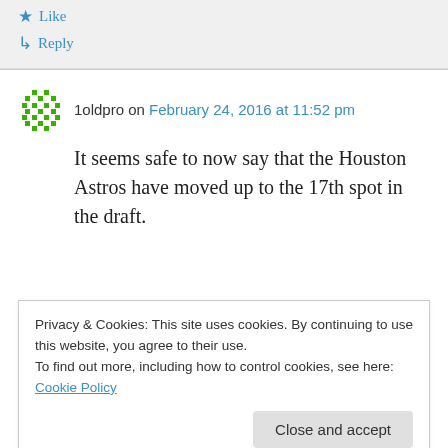★ Like
↳ Reply
1oldpro on February 24, 2016 at 11:52 pm
It seems safe to now say that the Houston Astros have moved up to the 17th spot in the draft.
Privacy & Cookies: This site uses cookies. By continuing to use this website, you agree to their use.
To find out more, including how to control cookies, see here: Cookie Policy
Close and accept